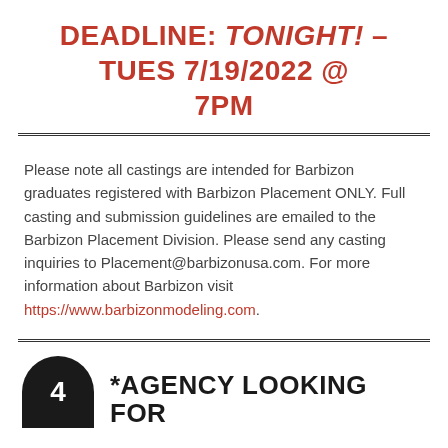DEADLINE: TONIGHT! – TUES 7/19/2022 @ 7PM
Please note all castings are intended for Barbizon graduates registered with Barbizon Placement ONLY. Full casting and submission guidelines are emailed to the Barbizon Placement Division. Please send any casting inquiries to Placement@barbizonusa.com. For more information about Barbizon visit https://www.barbizonmodeling.com.
*AGENCY LOOKING FOR